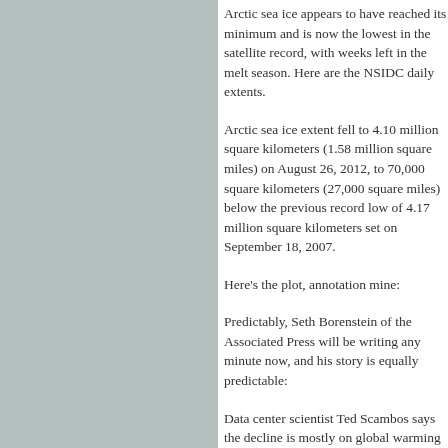[Figure (photo): Gray-green colored rectangular panel occupying the left side of the page]
Arctic sea ice appears to have reached its minimum and is now the lowest in the satellite record, with weeks left in the melt season. Here are the NSIDC daily extents.
Arctic sea ice extent fell to 4.10 million square kilometers (1.58 million square miles) on August 26, 2012, to 70,000 square kilometers (27,000 square miles) below the previous record low of 4.17 million square kilometers set on September 18, 2007.
Here's the plot, annotation mine:
Predictably, Seth Borenstein of the Associated Press will be writing any minute now, and his story is equally predictable:
Data center scientist Ted Scambos says the decline is mostly on global warming from the buildup of greenhouse gases.
Neither Borenstein nor NSIDC mentions the role of the massive Arctic storm that broke up the sea ice and made this new record low possible.